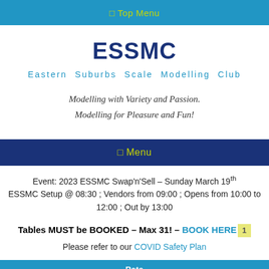⊟ Top Menu
ESSMC
Eastern Suburbs Scale Modelling Club
Modelling with Variety and Passion. Modelling for Pleasure and Fun!
⊟ Menu
Event: 2023 ESSMC Swap'n'Sell – Sunday March 19th ESSMC Setup @ 08:30 ; Vendors from 09:00 ; Opens from 10:00 to 12:00 ; Out by 13:00
Tables MUST be BOOKED – Max 31! – BOOK HERE
Please refer to our COVID Safety Plan
Rate